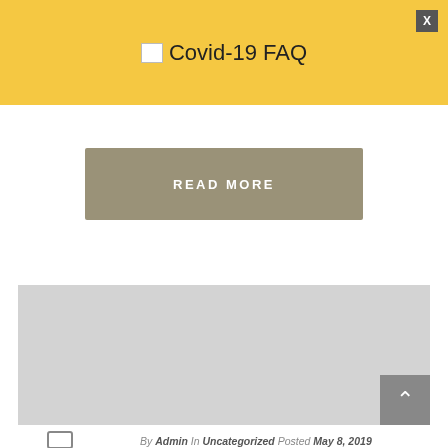Covid-19 FAQ
READ MORE
[Figure (photo): Gray placeholder image block]
By Admin In Uncategorized Posted May 8, 2019
ROBYN PEARL